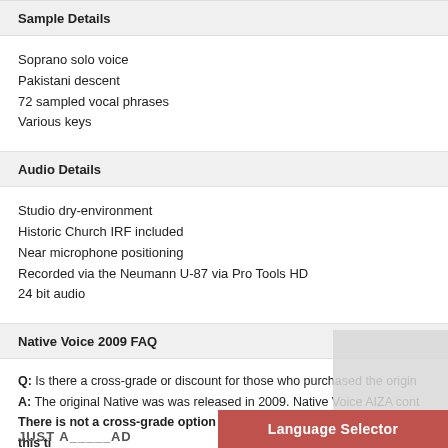Sample Details
Soprano solo voice
Pakistani descent
72 sampled vocal phrases
Various keys
Audio Details
Studio dry-environment
Historic Church IRF included
Near microphone positioning
Recorded via the Neumann U-87 via Pro Tools HD
24 bit audio
Native Voice 2009 FAQ
Q: Is there a cross-grade or discount for those who purchased the origin...
A: The original Native was was released in 2009. Native Voice AIZA cont...
There is not a cross-grade option or discount being considered at this ti...
Language Selector